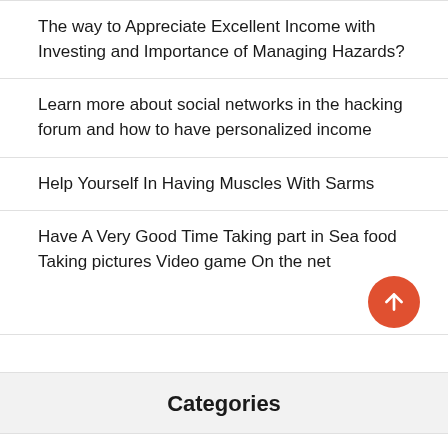The way to Appreciate Excellent Income with Investing and Importance of Managing Hazards?
Learn more about social networks in the hacking forum and how to have personalized income
Help Yourself In Having Muscles With Sarms
Have A Very Good Time Taking part in Sea food Taking pictures Video game On the net
Categories